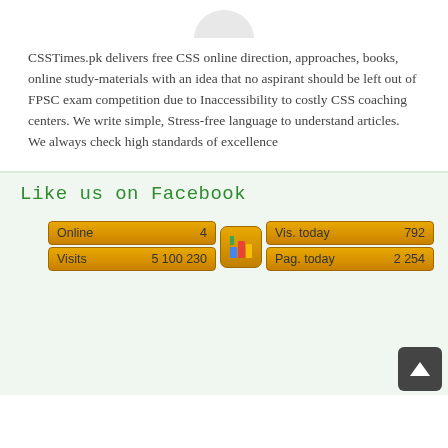CSSTimes.pk delivers free CSS online direction, approaches, books, online study-materials with an idea that no aspirant should be left out of FPSC exam competition due to Inaccessibility to costly CSS coaching centers. We write simple, Stress-free language to understand articles. We always check high standards of excellence
Like us on Facebook
[Figure (infographic): Website stats widget showing: Online 4, Visits 5 100 230, Vis. today 792, Pag. today 2 254, with a colorful icon in the center]